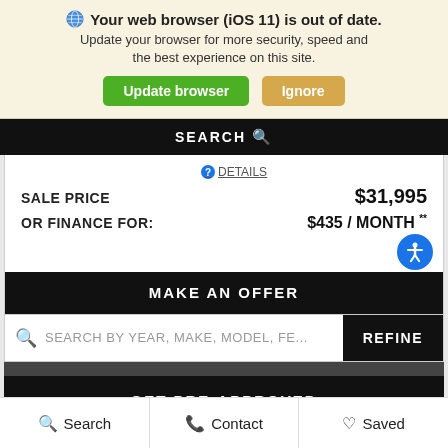🌐 Your web browser (iOS 11) is out of date. Update your browser for more security, speed and the best experience on this site.
Update browser | Ignore
SEARCH 🔍
⓪DETAILS
SALE PRICE   $31,995
OR FINANCE FOR:   $435 / MONTH **
MAKE AN OFFER
SEARCH BY YEAR, MAKE, MODEL, FE...
REFINE
GET PRE-APPROVED
Search | Contact | Saved